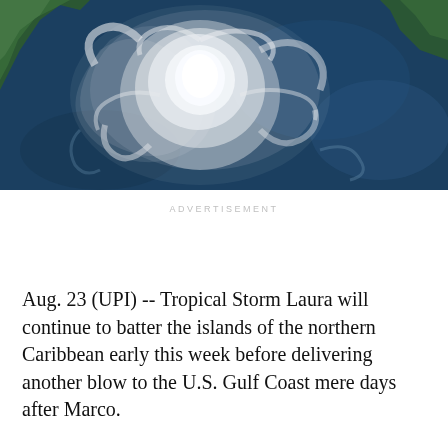[Figure (photo): Satellite image of Tropical Storm Laura over the northern Caribbean Sea, showing a large swirling white cloud formation against dark blue ocean waters, with land masses visible in the upper left and upper right corners.]
ADVERTISEMENT
Aug. 23 (UPI) -- Tropical Storm Laura will continue to batter the islands of the northern Caribbean early this week before delivering another blow to the U.S. Gulf Coast mere days after Marco.